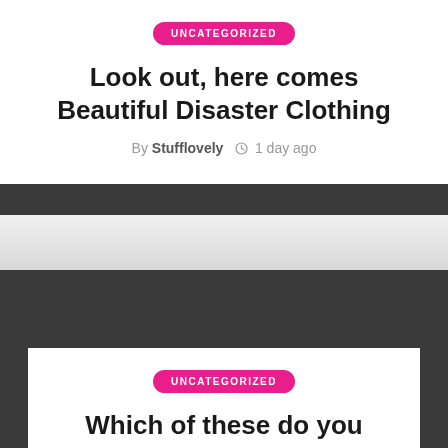UNCATEGORIZED
Look out, here comes Beautiful Disaster Clothing
By Stufflovely  1 day ago
UNCATEGORIZED
Which of these do you enjoy the best? Women's Striped